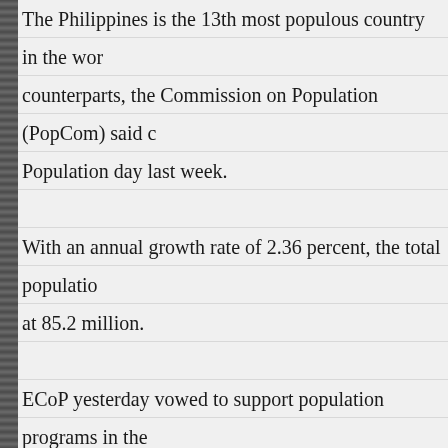The Philippines is the 13th most populous country in the world counterparts, the Commission on Population (PopCom) said d Population day last week.
With an annual growth rate of 2.36 percent, the total population at 85.2 million.
ECoP yesterday vowed to support population programs in the own set of activities meant to assist every member in providing family planning services to their workers.
In a press briefing yesterday in Intramuros, Manila, ECoP me population problem as a culprit in the poor economic develop
Leogardo explained that last year, there were about 1.2 million jobs created.
ECoP is extending technical and financial assistance to its me staff and human resource officers in providing counseling serv